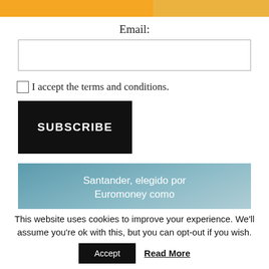[Figure (other): Orange progress bar at top of page, partially filled]
Email:
[Figure (other): Email input text field, empty, with border]
I accept the terms and conditions.
[Figure (other): SUBSCRIBE button, black background, white uppercase text]
[Figure (other): Santander bank advertisement banner with sky background: 'Santander, elegido por Euromoney como Mejor Banco de Europa Occidental']
This website uses cookies to improve your experience. We'll assume you're ok with this, but you can opt-out if you wish.
[Figure (other): Accept button and Read More link for cookie consent]